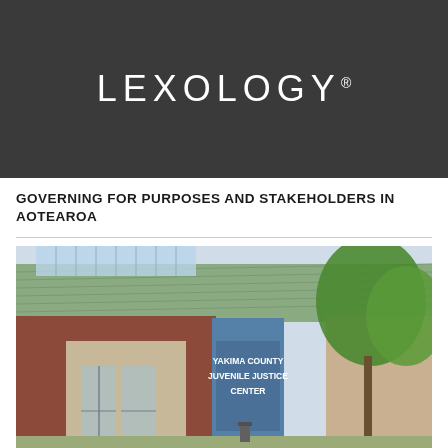[Figure (logo): Lexology logo in white text on dark charcoal background]
GOVERNING FOR PURPOSES AND STAKEHOLDERS IN AOTEAROA
[Figure (photo): Exterior photograph of the Yakima County Juvenile Justice Center building, showing blue sign pillar with white text reading 'YAKIMA COUNTY JUVENILE JUSTICE CENTER', a covered entrance with green metal roof, brick building, and trees in background]